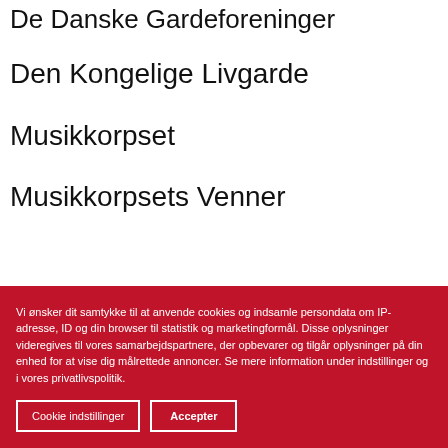De Danske Gardeforeninger
Den Kongelige Livgarde
Musikkorpset
Musikkorpsets Venner
Vi ønsker dit samtykke til at anvende cookies og indsamle persondata om IP-adresse, ID og din browser til statistik og marketingformål. Disse oplysninger videregives til vores samarbejdspartnere, der opbevarer og tilgår oplysninger på din enhed for at vise dig målrettede annoncer. Se mere information under indstillinger og i vores privatlivspolitik.
Cookie indstillinger
Accepter